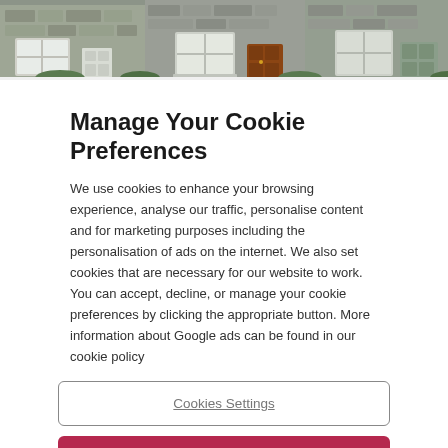[Figure (photo): Photo strip at top showing stone-fronted houses with white-framed windows and coloured front doors (white, brown, green)]
Manage Your Cookie Preferences
We use cookies to enhance your browsing experience, analyse our traffic, personalise content and for marketing purposes including the personalisation of ads on the internet. We also set cookies that are necessary for our website to work. You can accept, decline, or manage your cookie preferences by clicking the appropriate button. More information about Google ads can be found in our cookie policy
Cookies Settings
Reject all cookies
Accept all cookies